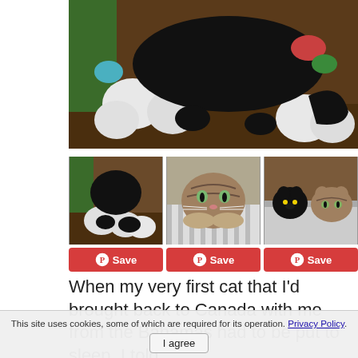[Figure (photo): Close-up photo of a black cat lying among white yarn balls and colorful craft supplies on a wooden surface]
[Figure (photo): Thumbnail: black cat lying among white yarn balls and crafts]
[Figure (photo): Thumbnail: tabby cat with face resting on white blanket, looking at camera]
[Figure (photo): Thumbnail: two cats (black and tabby) peeking over edge of bed]
When my very first cat that I'd brought back to Canada with me from the Bahamas had to be put to sleep, I told
This site uses cookies, some of which are required for its operation. Privacy Policy.
I agree